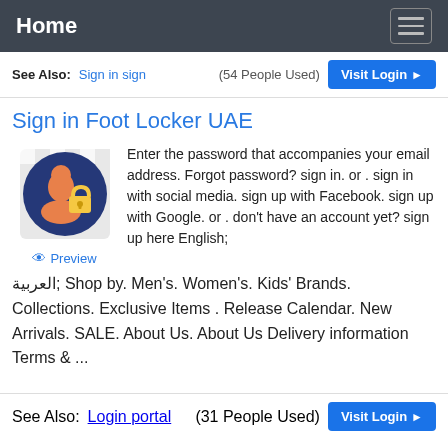Home
See Also: Sign in sign (54 People Used) Visit Login
Sign in Foot Locker UAE
[Figure (illustration): Circular dark blue icon showing a person silhouette with a padlock, with a checkered/light background. Below the icon is a blue Preview link with an eye icon.]
Enter the password that accompanies your email address. Forgot password? sign in. or . sign in with social media. sign up with Facebook. sign up with Google. or . don't have an account yet? sign up here English; العربية; Shop by. Men's. Women's. Kids' Brands. Collections. Exclusive Items . Release Calendar. New Arrivals. SALE. About Us. About Us Delivery information Terms & ...
See Also: Login portal (31 People Used) Visit Login